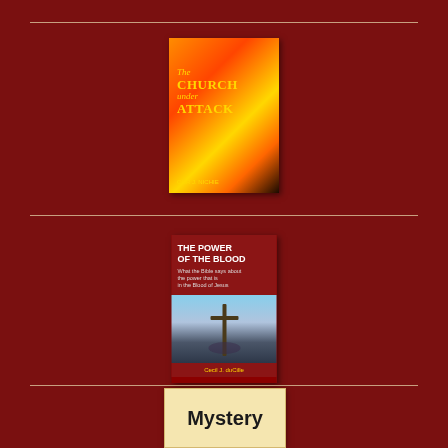[Figure (illustration): Book cover: 'The Church under Attack' with fire/bonfire background image and author name, yellow text on dark background]
[Figure (illustration): Book cover: 'The Power of the Blood' with red top section showing title and subtitle 'What the Bible says about the power that is in the Blood of Jesus', bottom section showing a cross on a hill at sunset/dusk]
[Figure (illustration): Book cover partially visible showing the word 'Mystery' in bold black text on a light/cream background]